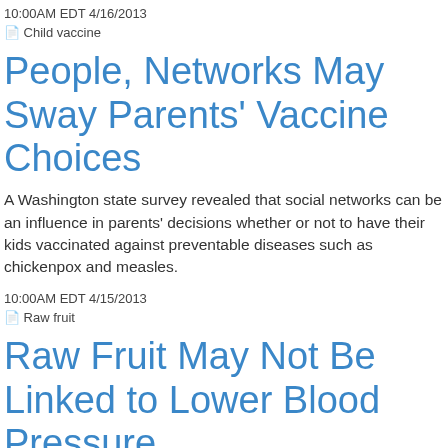10:00AM EDT 4/16/2013
[Figure (photo): Broken image placeholder labeled 'Child vaccine']
People, Networks May Sway Parents’ Vaccine Choices
A Washington state survey revealed that social networks can be an influence in parents’ decisions whether or not to have their kids vaccinated against preventable diseases such as chickenpox and measles.
10:00AM EDT 4/15/2013
[Figure (photo): Broken image placeholder labeled 'Raw fruit']
Raw Fruit May Not Be Linked to Lower Blood Pressure